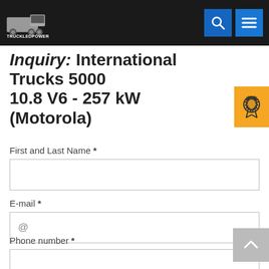TRUCKLEDPOWER header with search and menu icons
Inquiry: International Trucks 5000 10.8 V6 - 257 kW (Motorola)
First and Last Name *
E-mail *
Phone number *